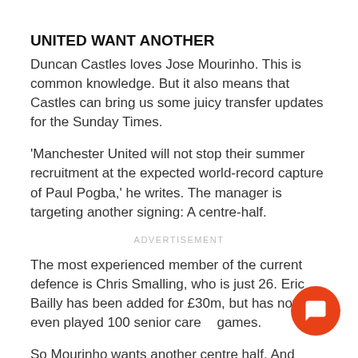UNITED WANT ANOTHER
Duncan Castles loves Jose Mourinho. This is common knowledge. But it also means that Castles can bring us some juicy transfer updates for the Sunday Times.
'Manchester United will not stop their summer recruitment at the expected world-record capture of Paul Pogba,' he writes. The manager is targeting another signing: A centre-half.
ADVERTISEMENT
The most experienced member of the current defence is Chris Smalling, who is just 26. Eric Bailly has been added for £30m, but has not even played 100 senior career games.
So Mourinho wants another centre half. And looking at